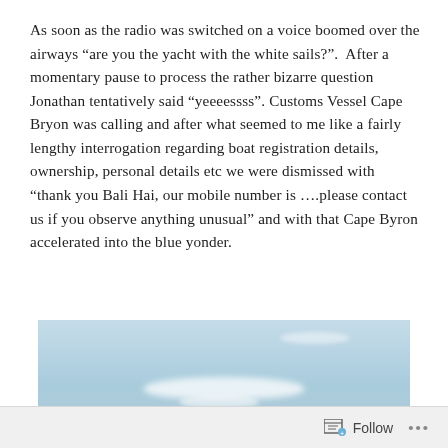As soon as the radio was switched on a voice boomed over the airways “are you the yacht with the white sails?”.  After a momentary pause to process the rather bizarre question Jonathan tentatively said “yeeeessss”. Customs Vessel Cape Bryon was calling and after what seemed to me like a fairly lengthy interrogation regarding boat registration details, ownership, personal details etc we were dismissed with “thank you Bali Hai, our mobile number is ….please contact us if you observe anything unusual” and with that Cape Byron accelerated into the blue yonder.
[Figure (photo): Partial photo of a blue sky with wispy white clouds near the horizon.]
Follow ...